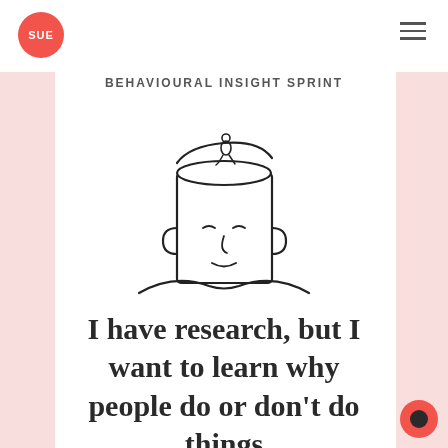BEHAVIOURAL INSIGHT SPRINT
[Figure (illustration): Line drawing illustration of a human head shaped like a cylinder/can with the top open like a lid, and a small person sitting on the edge of the open top. The face has closed eyes and a simple nose and lips.]
I have research, but I want to learn why people do or don't do things